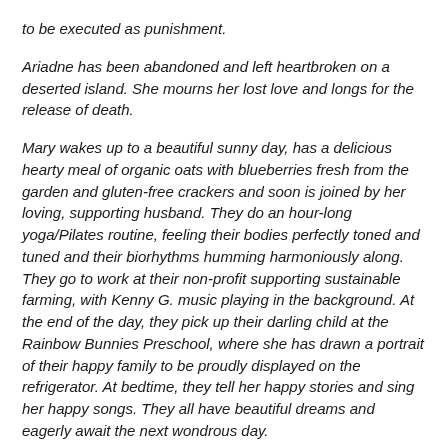to be executed as punishment.
Ariadne has been abandoned and left heartbroken on a deserted island. She mourns her lost love and longs for the release of death.
Mary wakes up to a beautiful sunny day, has a delicious hearty meal of organic oats with blueberries fresh from the garden and gluten-free crackers and soon is joined by her loving, supporting husband. They do an hour-long yoga/Pilates routine, feeling their bodies perfectly toned and tuned and their biorhythms humming harmoniously along. They go to work at their non-profit supporting sustainable farming, with Kenny G. music playing in the background. At the end of the day, they pick up their darling child at the Rainbow Bunnies Preschool, where she has drawn a portrait of their happy family to be proudly displayed on the refrigerator. At bedtime, they tell her happy stories and sing her happy songs. They all have beautiful dreams and eagerly await the next wondrous day.
Which of the above would be the best plots for an Opera?